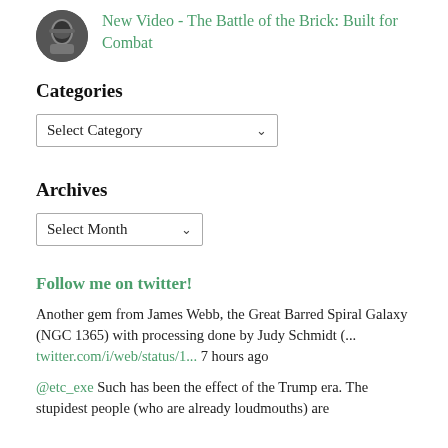[Figure (photo): Avatar icon of a person in a helmet/mask, circular crop]
New Video - The Battle of the Brick: Built for Combat
Categories
Select Category
Archives
Select Month
Follow me on twitter!
Another gem from James Webb, the Great Barred Spiral Galaxy (NGC 1365) with processing done by Judy Schmidt (... twitter.com/i/web/status/1... 7 hours ago
@etc_exe Such has been the effect of the Trump era. The stupidest people (who are already loudmouths) are